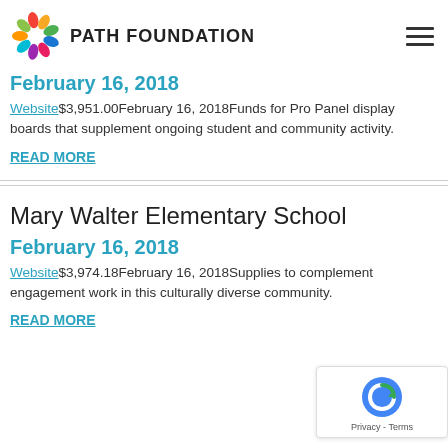PATH FOUNDATION
February 16, 2018
Website$3,951.00February 16, 2018Funds for Pro Panel display boards that supplement ongoing student and community activity.
READ MORE
Mary Walter Elementary School
February 16, 2018
Website$3,974.18February 16, 2018Supplies to complement engagement work in this culturally diverse community.
READ MORE